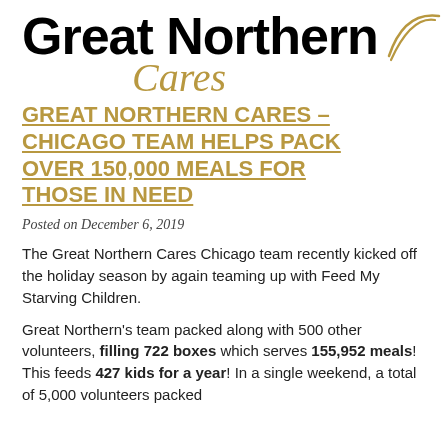[Figure (logo): Great Northern Cares logo with bold black text 'Great Northern' and gold italic cursive 'Cares' with a swoosh/underline graphic]
GREAT NORTHERN CARES – CHICAGO TEAM HELPS PACK OVER 150,000 MEALS FOR THOSE IN NEED
Posted on December 6, 2019
The Great Northern Cares Chicago team recently kicked off the holiday season by again teaming up with Feed My Starving Children.
Great Northern's team packed along with 500 other volunteers, filling 722 boxes which serves 155,952 meals!  This feeds 427 kids for a year! In a single weekend, a total of 5,000 volunteers packed 1.5 million meals to...